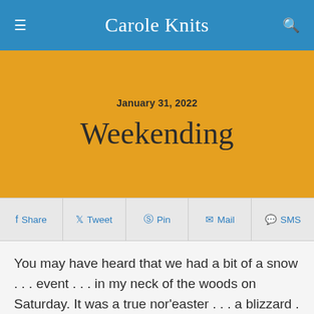Carole Knits
January 31, 2022
Weekending
Share   Tweet   Pin   Mail   SMS
You may have heard that we had a bit of a snow . . . event . . . in my neck of the woods on Saturday. It was a true nor'easter . . . a blizzard . . . a bombogenesis. Take your pick. And know that whatever you call it, we got a crap ton of snow dumped on us. The official amount for my town was 27.5 inches but the drifts were significantly higher.